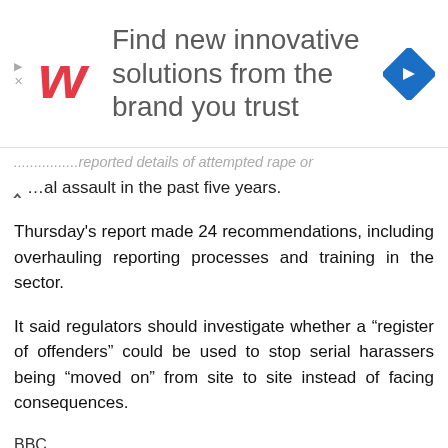[Figure (other): Walgreens advertisement banner: logo on left, text 'Find new innovative solutions from the brand you trust', navigation icon on right]
...al assault in the past five years.
Thursday's report made 24 recommendations, including overhauling reporting processes and training in the sector.
It said regulators should investigate whether a “register of offenders” could be used to stop serial harassers being “moved on” from site to site instead of facing consequences.
BBC